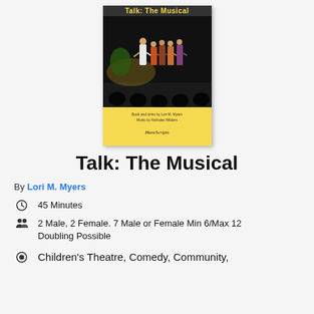[Figure (illustration): Book cover for 'Talk: The Musical' with yellow background. Shows a stage photo of performers in costume. Text reads: 'Book and lyrics by Lori M. Myers / Music by Nicholas Wilders / HaveScripts']
Talk: The Musical
By Lori M. Myers
45 Minutes
2 Male, 2 Female. 7 Male or Female Min 6/Max 12 Doubling Possible
Children's Theatre, Comedy, Community,